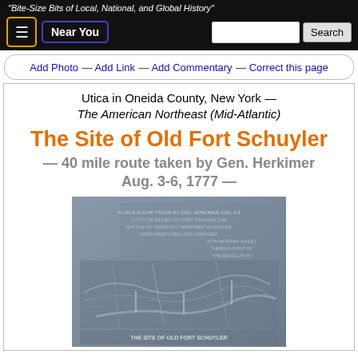MARKER DATABASE — "Bite-Size Bits of Local, National, and Global History"
Add Photo — Add Link — Add Commentary — Correct this page
Utica in Oneida County, New York — The American Northeast (Mid-Atlantic)
The Site of Old Fort Schuyler
— 40 mile route taken by Gen. Herkimer Aug. 3-6, 1777 —
[Figure (photo): Bronze relief plaque showing a map/scene related to Fort Schuyler and Gen. Herkimer's route, with embossed text and imagery]